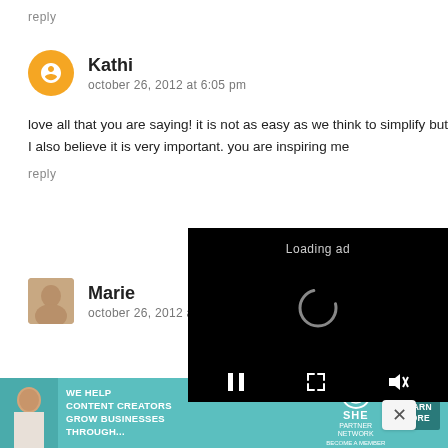reply
Kathi
october 26, 2012 at 6:05 pm
love all that you are saying! it is not as easy as we think to simplify but I also believe it is very important. you are inspiring me
reply
Marie
october 26, 2012 a
[Figure (screenshot): Video player overlay with black background showing 'Loading ad' text, a loading spinner, and playback controls (pause, fullscreen, mute)]
[Figure (infographic): SHE Partner Network advertisement banner with text 'WE HELP CONTENT CREATORS GROW BUSINESSES THROUGH...' and a LEARN MORE button]